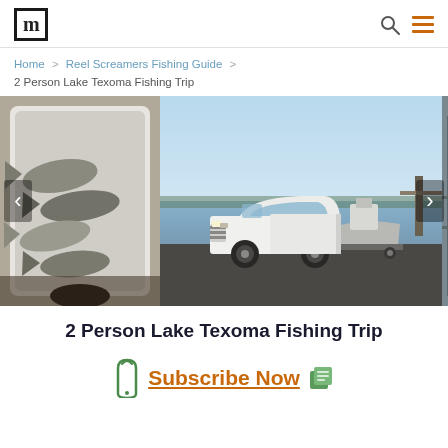m [logo] | search icon | hamburger menu
Home > Reel Screamers Fishing Guide > 2 Person Lake Texoma Fishing Trip
[Figure (photo): Image carousel showing three photos: left photo shows fresh-caught fish in a white cooler box; center photo shows a white RAM pickup truck towing a fishing boat on a ramp near Lake Texoma at golden hour; right photo is partially visible showing a dock/pier structure. Left and right navigation arrows are visible.]
2 Person Lake Texoma Fishing Trip
[Figure (other): Subscribe Now call-to-action button with phone icon on left and copy/clipboard icon on right, orange underlined text reading Subscribe Now]